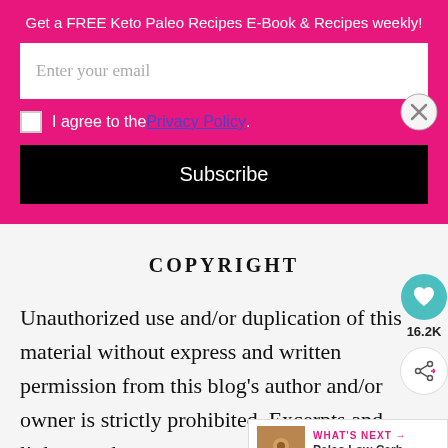Get a FREE Keto Paleo Recipes E-Book & Recipes weekly!
Enter your email
I agree to the Privacy Policy.
Subscribe
COPYRIGHT
Unauthorized use and/or duplication of this material without express and written permission from this blog’s author and/or owner is strictly prohibited. Excerpts and links may be